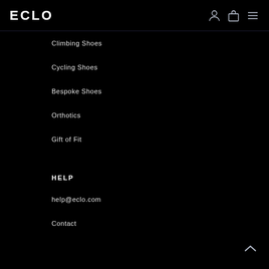ECLO
Climbing Shoes
Cycling Shoes
Bespoke Shoes
Orthotics
Gift of Fit
HELP
help@eclo.com
Contact